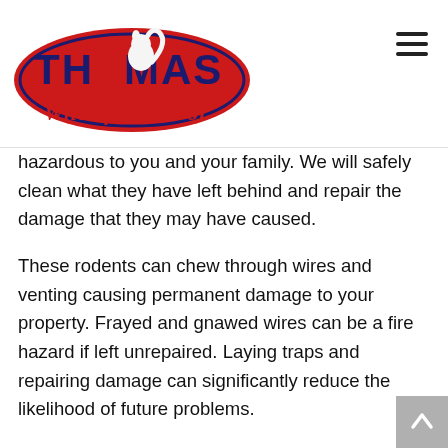[Figure (logo): Thomas Wildlife Control logo with red oval background and stylized text with a squirrel mascot]
hazardous to you and your family. We will safely clean what they have left behind and repair the damage that they may have caused.
These rodents can chew through wires and venting causing permanent damage to your property. Frayed and gnawed wires can be a fire hazard if left unrepaired. Laying traps and repairing damage can significantly reduce the likelihood of future problems.
The health hazard doesn’t end in the home. Rats, and the disease they carry, is a danger to businesses as well. We have control options available for both commercial and residential customers. Don’t let these pests from hurting your employees and patrons, consult with a professional